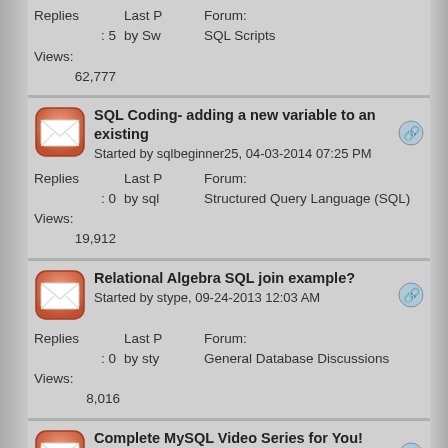Replies : 5
Views: 62,777
Last P by Sw
Forum: SQL Scripts
SQL Coding- adding a new variable to an existing
Started by sqlbeginner25, 04-03-2014 07:25 PM
Replies : 0
Views: 19,912
Last P by sql
Forum: Structured Query Language (SQL)
Relational Algebra SQL join example?
Started by stype, 09-24-2013 12:03 AM
Replies : 0
Views: 8,016
Last P by sty
Forum: General Database Discussions
Complete MySQL Video Series for You!
Started by CalebCurry, 07-27-2013 01:50 PM
Replies : 0
Views: 17,313
Last P by Ca
Forum: MySQL